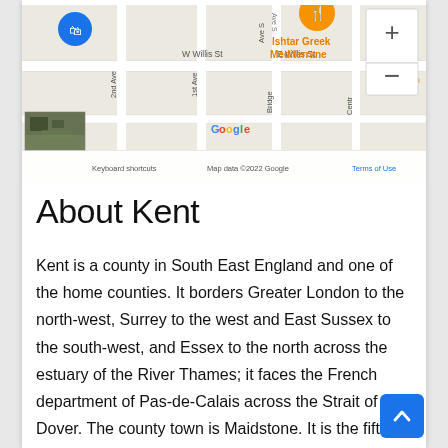[Figure (screenshot): Google Maps snippet showing streets including W Willis St, E Willis St, 2nd Ave, 1st Ave, Bridge St, Central area. An orange restaurant pin labeled 'Ishtar Greek Mediterrane...' is visible. Map controls show + and - zoom buttons. Bottom bar shows 'Keyboard shortcuts', 'Map data ©2022 Google', 'Terms of Use'. A small satellite imagery thumbnail is in the lower-left corner.]
About Kent
Kent is a county in South East England and one of the home counties. It borders Greater London to the north-west, Surrey to the west and East Sussex to the south-west, and Essex to the north across the estuary of the River Thames; it faces the French department of Pas-de-Calais across the Strait of Dover. The county town is Maidstone. It is the fifth most populous county in England, the most...